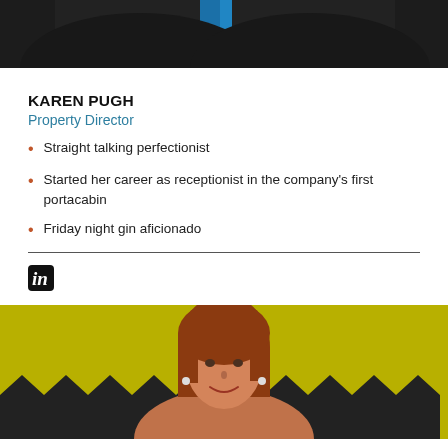[Figure (photo): Top portion of a person in dark clothing with blue accent, cropped profile photo]
KAREN PUGH
Property Director
Straight talking perfectionist
Started her career as receptionist in the company's first portacabin
Friday night gin aficionado
[Figure (logo): LinkedIn 'in' logo]
[Figure (photo): Woman with reddish-brown hair smiling, in front of yellow and black zigzag patterned background]